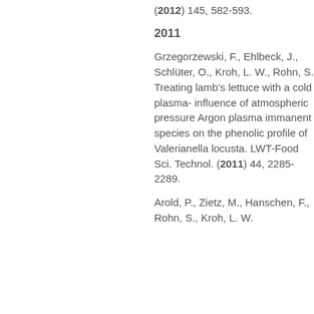(2012) 145, 582-593.
2011
Grzegorzewski, F., Ehlbeck, J., Schlüter, O., Kroh, L. W., Rohn, S. Treating lamb's lettuce with a cold plasma- influence of atmospheric pressure Argon plasma immanent species on the phenolic profile of Valerianella locusta. LWT-Food Sci. Technol. (2011) 44, 2285-2289.
Arold, P., Zietz, M., Hanschen, F., Rohn, S., Kroh, L. W.